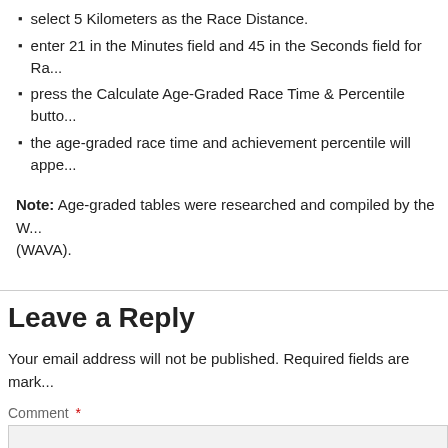select 5 Kilometers as the Race Distance.
enter 21 in the Minutes field and 45 in the Seconds field for Ra...
press the Calculate Age-Graded Race Time & Percentile butto...
the age-graded race time and achievement percentile will appe...
Note: Age-graded tables were researched and compiled by the W... (WAVA).
Leave a Reply
Your email address will not be published. Required fields are mark...
Comment *
Notify me of followup comments via e-mail
Name *